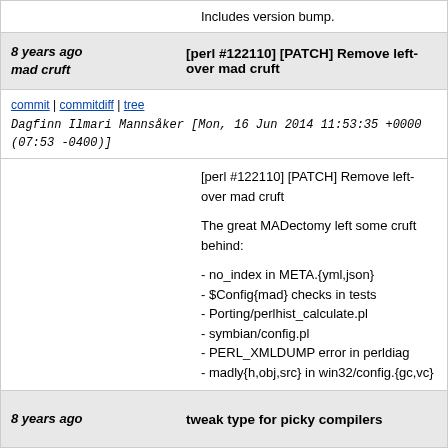Includes version bump.
8 years ago
mad cruft | [perl #122110] [PATCH] Remove left-over mad cruft
commit | commitdiff | tree  Dagfinn Ilmari Mannsåker [Mon, 16 Jun 2014 11:53:35 +0000 (07:53 -0400)]
[perl #122110] [PATCH] Remove left-over mad cruft

The great MADectomy left some cruft behind:

- no_index in META.{yml,json}
- $Config{mad} checks in tests
- Porting/perlhist_calculate.pl
- symbian/config.pl
- PERL_XMLDUMP error in perldiag
- madly{h,obj,src} in win32/config.{gc,vc}
8 years ago | tweak type for picky compilers
commit | commitdiff | tree  Yves Orton [Mon, 16 Jun 2014 11:38:50 +0000 (13:38 +0200)]
tweak type for picky compilers